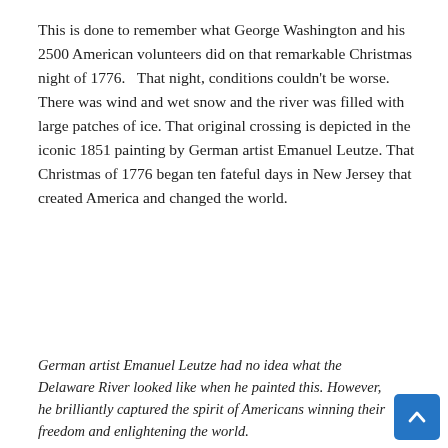This is done to remember what George Washington and his 2500 American volunteers did on that remarkable Christmas night of 1776.   That night, conditions couldn't be worse.  There was wind and wet snow and the river was filled with large patches of ice. That original crossing is depicted in the iconic 1851 painting by German artist Emanuel Leutze. That Christmas of 1776 began ten fateful days in New Jersey that created America and changed the world.
[Figure (photo): Broken/placeholder image box representing a painting (Emanuel Leutze's Washington Crossing the Delaware). Only a placeholder icon and border are visible.]
German artist Emanuel Leutze had no idea what the Delaware River looked like when he painted this. However, he brilliantly captured the spirit of Americans winning their freedom and enlightening the world.